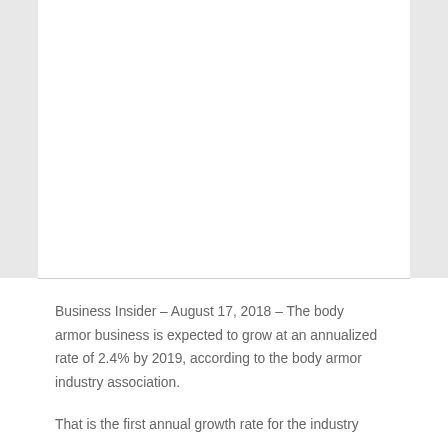Business Insider – August 17, 2018 – The body armor business is expected to grow at an annualized rate of 2.4% by 2019, according to the body armor industry association.
That is the first annual growth rate for the industry